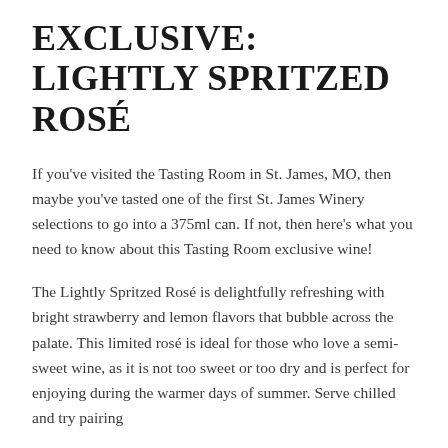EXCLUSIVE: LIGHTLY SPRITZED ROSÉ
If you've visited the Tasting Room in St. James, MO, then maybe you've tasted one of the first St. James Winery selections to go into a 375ml can. If not, then here's what you need to know about this Tasting Room exclusive wine!
The Lightly Spritzed Rosé is delightfully refreshing with bright strawberry and lemon flavors that bubble across the palate. This limited rosé is ideal for those who love a semi-sweet wine, as it is not too sweet or too dry and is perfect for enjoying during the warmer days of summer. Serve chilled and try pairing